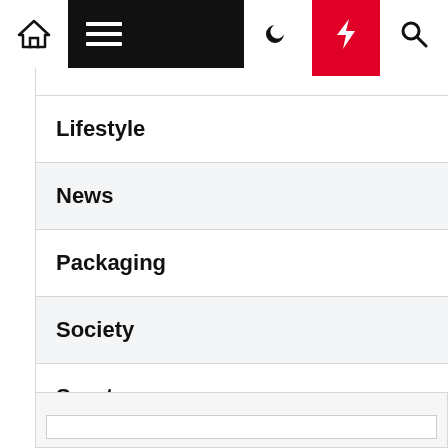Navigation bar with home, menu, moon, bolt, search icons
Lifestyle
News
Packaging
Society
Sports
Travel & Leisure